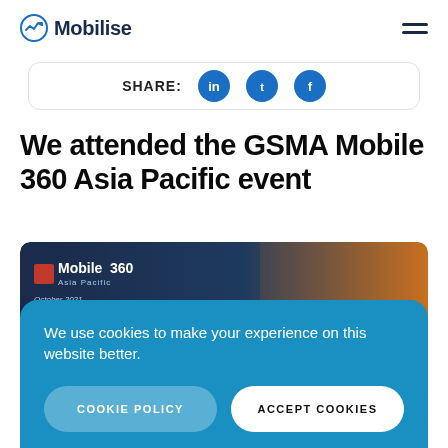Mobilise
[Figure (other): Share row with LinkedIn, Twitter, and Facebook icon buttons inside a rounded card]
We attended the GSMA Mobile 360 Asia Pacific event
[Figure (other): Mobile360 Asia Pacific event banner with logo and October 2021 text on dark blue/orange gradient background]
We use cookies to make your experience on this website better.
COOKIE POLICY   ACCEPT COOKIES